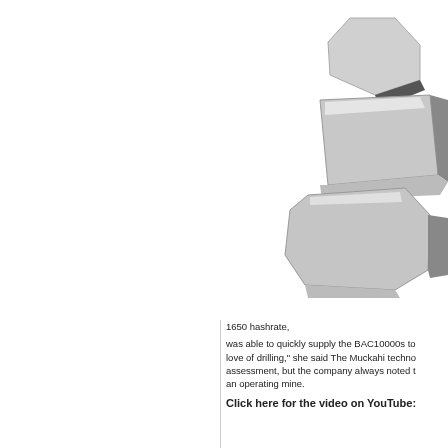[Figure (photo): Black and white photo of metallic hexagonal and polygonal shaped objects (metal tiles/plates) arranged in a stack or cluster, shown against a white background. The objects appear to be machined or cast metal pieces with a brushed metallic finish.]
1650 hashrate,
was able to quickly supply the BAC10000s to
love of drilling," she said The Muckahi techno
assessment, but the company always noted t
an operating mine.
Click here for the video on YouTube: